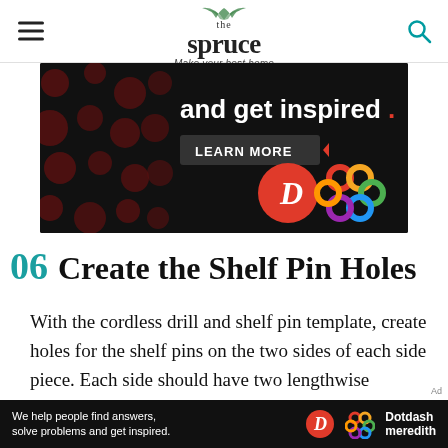the spruce — Make your best home
[Figure (screenshot): Dark advertisement banner with text 'and get inspired.' and 'LEARN MORE' button, featuring Dotdash Meredith logos]
06 Create the Shelf Pin Holes
With the cordless drill and shelf pin template, create holes for the shelf pins on the two sides of each side piece. Each side should have two lengthwise columns of pin holes, located on the inside of the
Ad
We help people find answers, solve problems and get inspired. Dotdash meredith